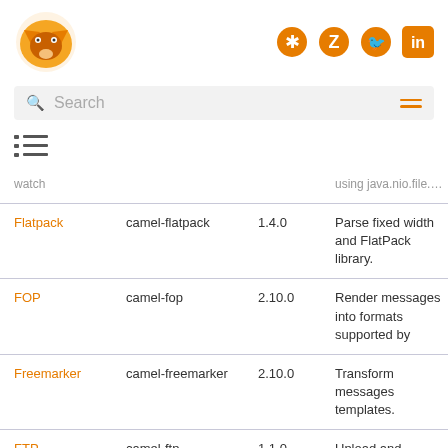Logo and navigation icons (GitHub, Zulip, Twitter, LinkedIn)
Search
[Figure (other): List/table of contents icon]
| Component | Artifact | Version | Description |
| --- | --- | --- | --- |
| watch |  |  | using java.nio.file.Wate... |
| Flatpack | camel-flatpack | 1.4.0 | Parse fixed width and FlatPack library. |
| FOP | camel-fop | 2.10.0 | Render messages into formats supported by |
| Freemarker | camel-freemarker | 2.10.0 | Transform messages templates. |
| FTP | camel-ftp | 1.1.0 | Upload and download servers. |